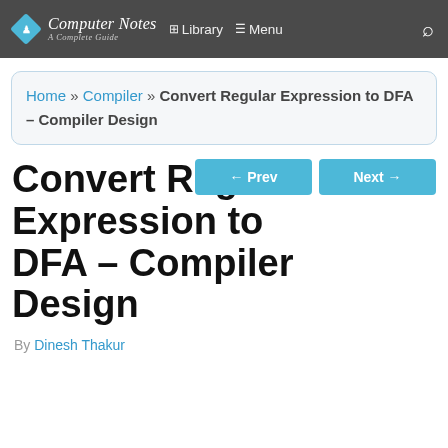Computer Notes – A Complete Guide | Library | Menu
Home » Compiler » Convert Regular Expression to DFA – Compiler Design
Convert Regular Expression to DFA – Compiler Design
By Dinesh Thakur